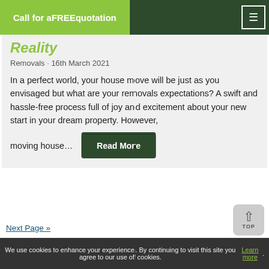Call for a FREE quotation
Reality
Removals · 16th March 2021
In a perfect world, your house move will be just as you envisaged but what are your removals expectations? A swift and hassle-free process full of joy and excitement about your new start in your dream property. However, moving house…
Next Page »
We use cookies to enhance your experience. By continuing to visit this site you agree to our use of cookies. Learn more.